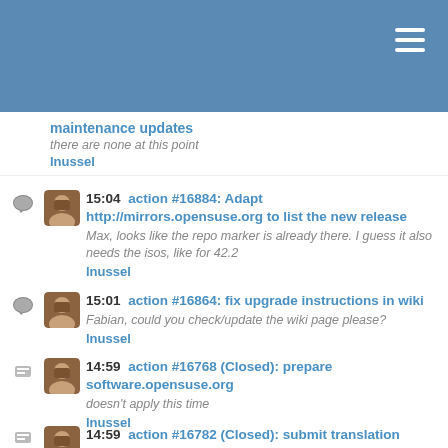maintenance updates
there are none at this point
lnussel
15:04 action #16884: Adapt http://mirrors.opensuse.org to list the new release
Max, looks like the repo marker is already there. I guess it also needs the isos, like for 42.2
lnussel
15:01 action #16864: fix upgrade instructions in wiki
Fabian, could you check/update the wiki page please?
lnussel
14:59 action #16768 (Closed): prepare software.opensuse.org
doesn't apply this time
lnussel
14:59 action #16782 (Closed): submit translation